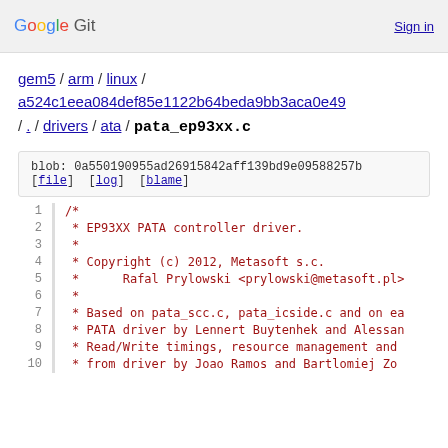Google Git  Sign in
gem5 / arm / linux / a524c1eea084def85e1122b64beda9bb3aca0e49 / . / drivers / ata / pata_ep93xx.c
blob: 0a550190955ad26915842aff139bd9e09588257b [file] [log] [blame]
| line | code |
| --- | --- |
| 1 | /* |
| 2 |  * EP93XX PATA controller driver. |
| 3 |  * |
| 4 |  * Copyright (c) 2012, Metasoft s.c. |
| 5 |  *      Rafal Prylowski <prylowski@metasoft.pl> |
| 6 |  * |
| 7 |  * Based on pata_scc.c, pata_icside.c and on ea |
| 8 |  * PATA driver by Lennert Buytenhek and Alessan |
| 9 |  * Read/Write timings, resource management and |
| 10 |  * from driver by Joao Ramos and Bartlomiej Zo |